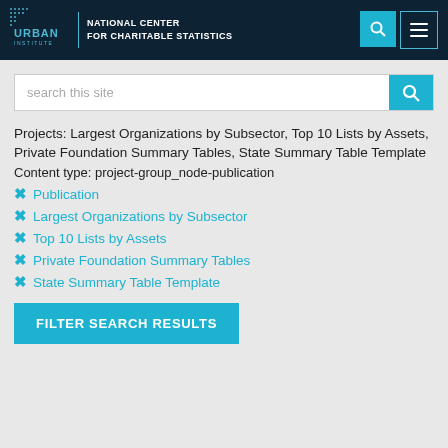URBAN INSTITUTE | NATIONAL CENTER FOR CHARITABLE STATISTICS
search this site
Projects: Largest Organizations by Subsector, Top 10 Lists by Assets, Private Foundation Summary Tables, State Summary Table Template
Content type: project-group_node-publication
Publication
Largest Organizations by Subsector
Top 10 Lists by Assets
Private Foundation Summary Tables
State Summary Table Template
FILTER SEARCH RESULTS